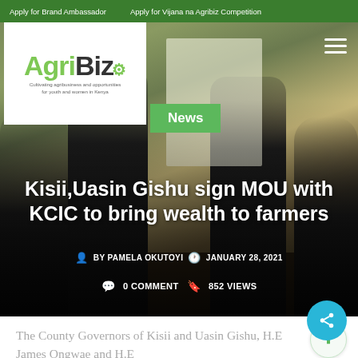Apply for Brand Ambassador   Apply for Vijana na Agribiz Competition
[Figure (screenshot): AgriBiz logo on white background with tagline: Cultivating agribusiness and opportunities for youth and women in Kenya]
[Figure (photo): Group of people signing MOU, wearing face masks, indoors]
Kisii,Uasin Gishu sign MOU with KCIC to bring wealth to farmers
BY PAMELA OKUTOYI   JANUARY 28, 2021
0 COMMENT   852 VIEWS
The County Governors of Kisii and Uasin Gishu, H.E James Ongwae and H.E